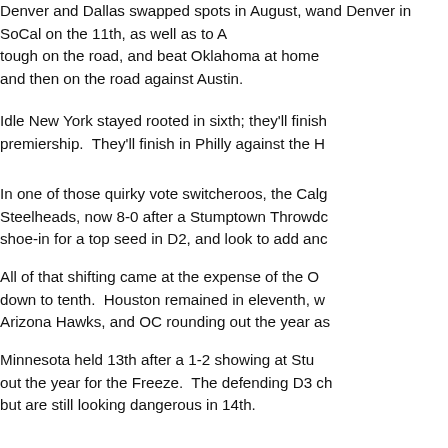Denver and Dallas swapped spots in August, with and Denver in SoCal on the 11th, as well as to A tough on the road, and beat Oklahoma at home and then on the road against Austin.
Idle New York stayed rooted in sixth; they'll finish premiership.  They'll finish in Philly against the H
In one of those quirky vote switcheroos, the Calg Steelheads, now 8-0 after a Stumptown Throwdo shoe-in for a top seed in D2, and look to add anc
All of that shifting came at the expense of the O down to tenth.  Houston remained in eleventh, w Arizona Hawks, and OC rounding out the year as
Minnesota held 13th after a 1-2 showing at Stu out the year for the Freeze.  The defending D3 ch but are still looking dangerous in 14th.
Whatever happens to Philadelphia in Baltimore best regular season in more than a decade.  The in their highest position ever: fifteen.
Chicago held firm in sixteenth with their league b end up at Golden Gate in the NorCal Cup on the number 20 with their win over Indianapolis on A